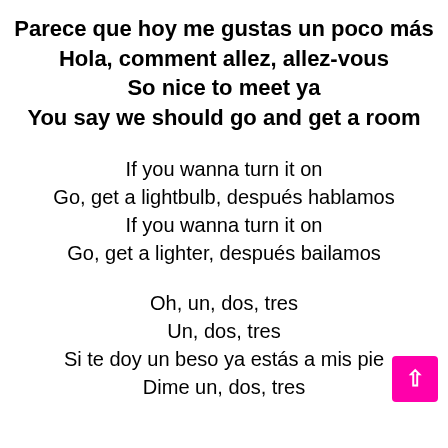Parece que hoy me gustas un poco más
Hola, comment allez, allez-vous
So nice to meet ya
You say we should go and get a room
If you wanna turn it on
Go, get a lightbulb, después hablamos
If you wanna turn it on
Go, get a lighter, después bailamos
Oh, un, dos, tres
Un, dos, tres
Si te doy un beso ya estás a mis pie
Dime un, dos, tres